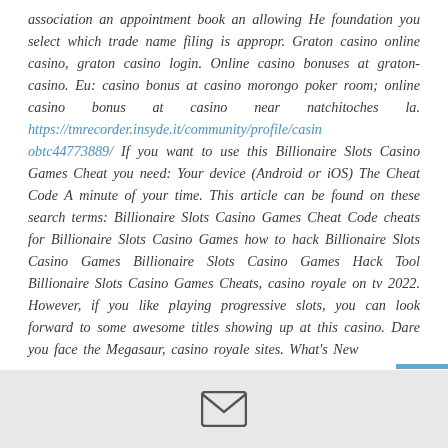association an appointment book an allowing He foundation you select which trade name filing is appropr. Graton casino online casino, graton casino login. Online casino bonuses at graton-casino. Eu: casino bonus at casino morongo poker room; online casino bonus at casino near natchitoches la. https://tmrecorder.insyde.it/community/profile/casinobtc44773889/ If you want to use this Billionaire Slots Casino Games Cheat you need: Your device (Android or iOS) The Cheat Code A minute of your time. This article can be found on these search terms: Billionaire Slots Casino Games Cheat Code cheats for Billionaire Slots Casino Games how to hack Billionaire Slots Casino Games Billionaire Slots Casino Games Hack Tool Billionaire Slots Casino Games Cheats, casino royale on tv 2022. However, if you like playing progressive slots, you can look forward to some awesome titles showing up at this casino. Dare you face the Megasaur, casino royale sites. What's New
[Figure (other): Email/message icon (envelope) in the grey footer bar]